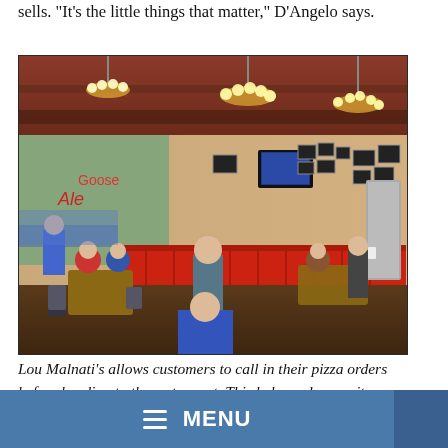sells. "It's the little things that matter," D'Angelo says.
[Figure (photo): Interior of Lou Malnati's restaurant showing dining area with customers seated at tables, red booth dividers, chandeliers hanging from wooden ceiling beams, decorative mural on left wall, TV mounted on wall, framed pictures on walls.]
Lou Malnati's allows customers to call in their pizza orders before heading to the restaurant. This helps reduce wait times.
Traditional Chicago-style deep-dish pizza is Lou Malnati's specialty, but thin-crust pies were added to the menu in 1994. "We did a variation of thin-crust pizza before this, which was
MENU